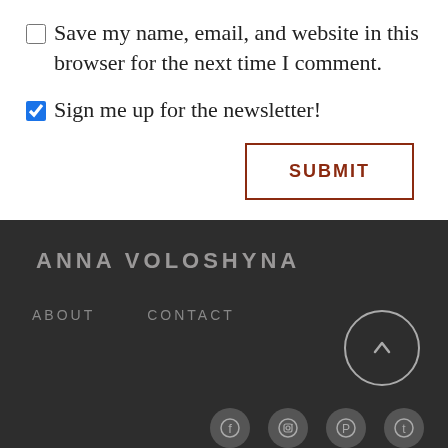Save my name, email, and website in this browser for the next time I comment.
Sign me up for the newsletter!
SUBMIT
ANNA VOLOSHYNA
ABOUT
CONTACT